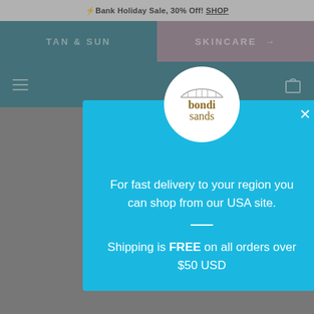⚡ Bank Holiday Sale, 30% Off! SHOP
TAN & SUN
SKINCARE →
[Figure (screenshot): Bondi Sands website header with hamburger menu and shopping bag icon]
[Figure (logo): Bondi Sands circular logo with bridge icon and gold text reading 'bondi sands']
For fast delivery to your region you can shop from our USA site.
Shipping is FREE on all orders over $50 USD